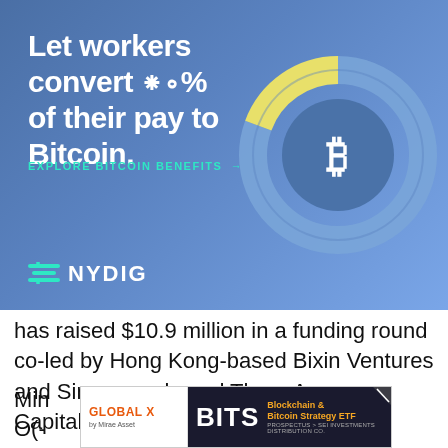[Figure (infographic): NYDIG advertisement banner with blue gradient background. Large white text reads 'Let workers convert % of their pay to Bitcoin.' with a donut chart graphic showing a Bitcoin symbol in the center. Teal text reads 'EXPLORE BITCOIN BENEFITS +'. NYDIG logo with teal icon at bottom left.]
has raised $10.9 million in a funding round co-led by Hong Kong-based Bixin Ventures and Singapore-based Three Arrows Capital.
Mir... ut O(...
[Figure (infographic): Bottom ad banner: Global X by Mirae Asset logo on left, BITS Blockchain & Bitcoin Strategy ETF advertisement on dark background. PROSPECTUS > SEI INVESTMENTS DISTRIBUTION CO.]